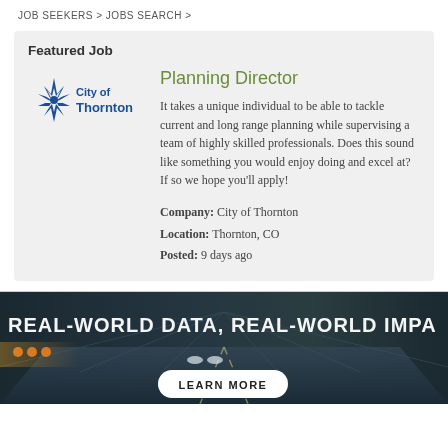JOB SEEKERS > JOBS SEARCH >
Featured Job
[Figure (logo): City of Thornton logo — blue compass/star icon with 'City of Thornton' text in blue]
Planning Director
It takes a unique individual to be able to tackle current and long range planning while supervising a team of highly skilled professionals. Does this sound like something you would enjoy doing and excel at? If so we hope you'll apply!
Company: City of Thornton
Location: Thornton, CO
Posted: 9 days ago
[Figure (photo): Dark photograph of a highway/tunnel with motion blur, with white bold text overlay reading 'REAL-WORLD DATA, REAL-WORLD IMPA...' and a white 'LEARN MORE' button at the bottom center]